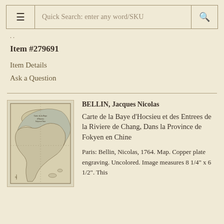≡  Quick Search: enter any word/SKU  🔍
Item #279691
Item Details
Ask a Question
[Figure (map): Small antique map showing Carte de la Baye d'Hocsieu et des Entrees de la Riviere de Chang, Dans la Province de Fokyen en Chine, copper plate engraving, uncolored, black and white]
BELLIN, Jacques Nicolas
Carte de la Baye d'Hocsieu et des Entrees de la Riviere de Chang, Dans la Province de Fokyen en Chine
Paris: Bellin, Nicolas, 1764. Map. Copper plate engraving. Uncolored. Image measures 8 1/4" x 6 1/2". This